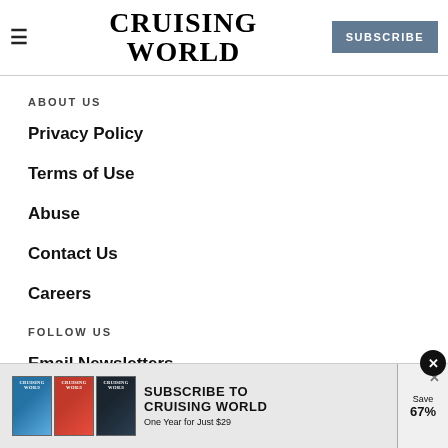CRUISING WORLD | SUBSCRIBE
ABOUT US
Privacy Policy
Terms of Use
Abuse
Contact Us
Careers
FOLLOW US
Email Newsletters
Facebook
Twitter
Pinterest
[Figure (screenshot): Advertisement banner for Cruising World magazine subscription: Subscribe to Cruising World, One Year for Just $29, Save 67%]